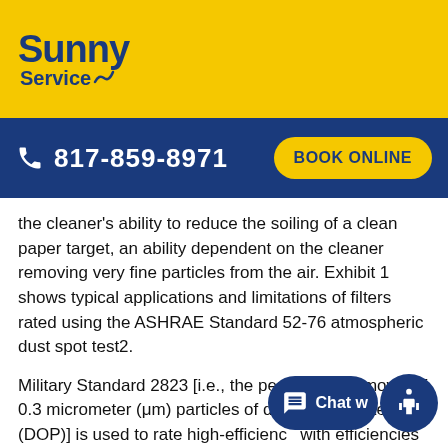Sunny Service
817-859-8971  BOOK ONLINE
the cleaner's ability to reduce the soiling of a clean paper target, an ability dependent on the cleaner removing very fine particles from the air. Exhibit 1 shows typical applications and limitations of filters rated using the ASHRAE Standard 52-76 atmospheric dust spot test2.
Military Standard 2823 [i.e., the percentage removal of 0.3 micrometer (μm) particles of dioctyl phthalate (DOP)] is used to rate high-efficienc with efficiencies above about 98 pe "HEPA" (high-efficiency particulate air) filte